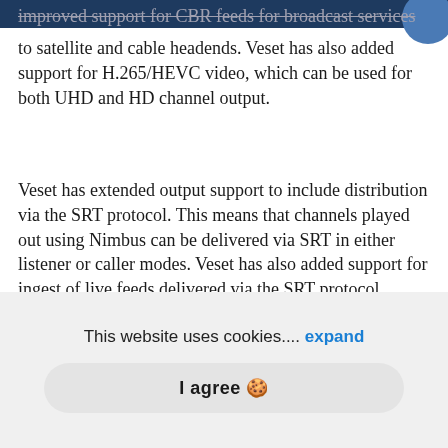improved support for CBR feeds for broadcast services
to satellite and cable headends. Veset has also added support for H.265/HEVC video, which can be used for both UHD and HD channel output.
Veset has extended output support to include distribution via the SRT protocol. This means that channels played out using Nimbus can be delivered via SRT in either listener or caller modes. Veset has also added support for ingest of live feeds delivered via the SRT protocol.
Veset Nimbus already featured support for SCTE-35
This website uses cookies.... expand
I agree 🍪